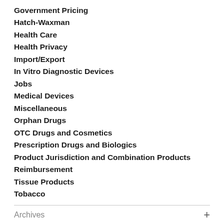Government Pricing
Hatch-Waxman
Health Care
Health Privacy
Import/Export
In Vitro Diagnostic Devices
Jobs
Medical Devices
Miscellaneous
Orphan Drugs
OTC Drugs and Cosmetics
Prescription Drugs and Biologics
Product Jurisdiction and Combination Products
Reimbursement
Tissue Products
Tobacco
Archives